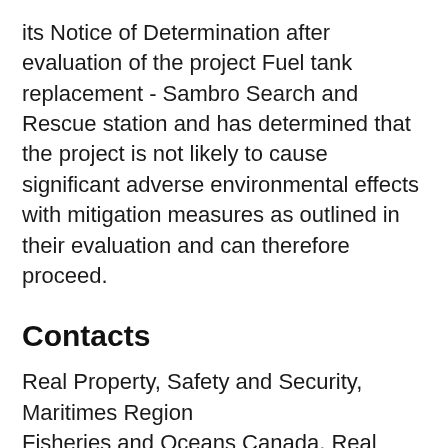its Notice of Determination after evaluation of the project Fuel tank replacement - Sambro Search and Rescue station and has determined that the project is not likely to cause significant adverse environmental effects with mitigation measures as outlined in their evaluation and can therefore proceed.
Contacts
Real Property, Safety and Security, Maritimes Region
Fisheries and Oceans Canada, Real Property, Safety and Security, Maritimes Region